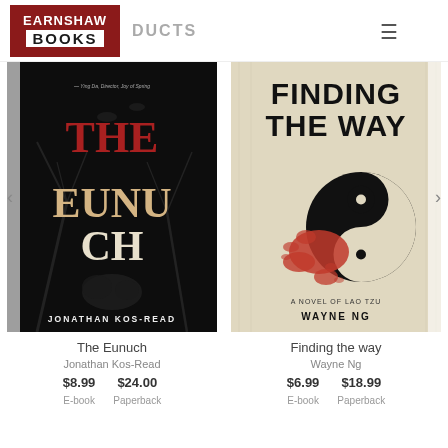Earnshaw Books — PRODUCTS
[Figure (illustration): Book cover: The Eunuch by Jonathan Kos-Read. Dark background with bare tree silhouettes and bats. Large title text 'THE EUNUCH' in orange/red and cream tones. Author name 'JONATHAN KOS-READ' at bottom.]
[Figure (illustration): Book cover: Finding the Way by Wayne Ng. Cream/parchment background with Chinese calligraphy. Large bold title 'FINDING THE WAY'. Yin-yang symbol with red paint splatter. Text 'A NOVEL OF LAO TZU' and author name 'WAYNE NG'.]
The Eunuch
Jonathan Kos-Read
$8.99 E-book   $24.00 Paperback
Finding the way
Wayne Ng
$6.99 E-book   $18.99 Paperback